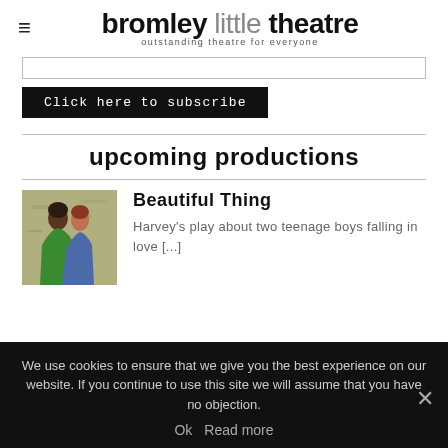bromley little theatre — outstanding theatre for everyone
[Figure (screenshot): Email input field (newsletter subscribe form)]
Click here to subscribe
upcoming productions
[Figure (illustration): Illustration of two teenage boys embracing, seen from behind, against a graffiti-like background. One wears green, the other blue.]
Beautiful Thing
Harvey's play about two teenage boys falling in love [...]
We use cookies to ensure that we give you the best experience on our website. If you continue to use this site we will assume that you have no objection.
Ok   Read more